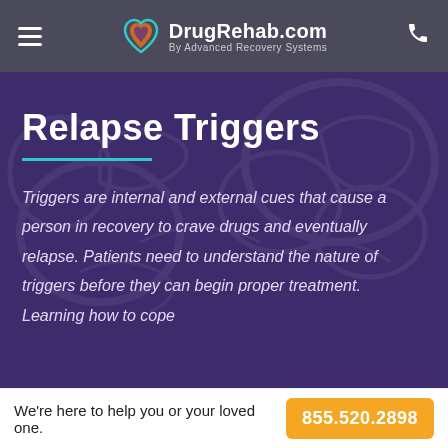DrugRehab.com By Advanced Recovery Systems
Relapse Triggers
Triggers are internal and external cues that cause a person in recovery to crave drugs and eventually relapse. Patients need to understand the nature of triggers before they can begin proper treatment. Learning how to cope
We're here to help you or your loved one. 855.520.2898